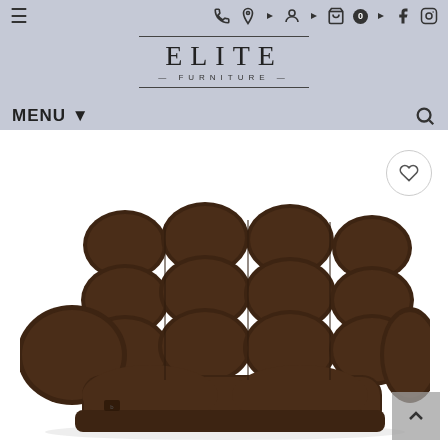[Figure (screenshot): Elite Furniture website header with navigation bar on a light blue-gray background. Top row has hamburger menu icon on left and icons (phone, location, account, cart with badge 0, forward arrow, Facebook, Instagram) on right. Center shows Elite Furniture logo with decorative lines. Below is MENU dropdown on the left and search icon on the right.]
[Figure (photo): Dark chocolate brown tufted fabric recliner loveseat/sofa with plush cushioned back and armrests, shown on white background. Heart/wishlist button in top right corner. Scroll-to-top button in bottom right corner.]